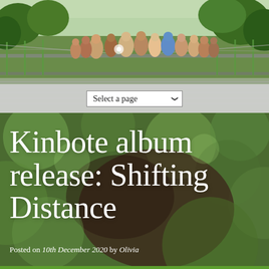[Figure (photo): Outdoor crowd of people gathered on a bridge or platform, surrounded by green trees and sunlight, taken from a slightly elevated angle.]
Select a page
[Figure (photo): Blurred bokeh background photo with green and brown tones, used as background behind article title text.]
Kinbote album release: Shifting Distance
Posted on 10th December 2020 by Olivia